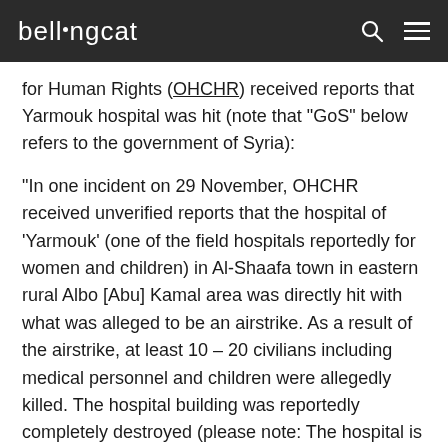bellingcat
for Human Rights (OHCHR) received reports that Yarmouk hospital was hit (note that “GoS” below refers to the government of Syria):
“In one incident on 29 November, OHCHR received unverified reports that the hospital of ‘Yarmouk’ (one of the field hospitals reportedly for women and children) in Al-Shaafa town in eastern rural Albo [Abu] Kamal area was directly hit with what was alleged to be an airstrike. As a result of the airstrike, at least 10 – 20 civilians including medical personnel and children were allegedly killed. The hospital building was reportedly completely destroyed (please note: The hospital is located in the town of Shaafa, which is about 15 km from the